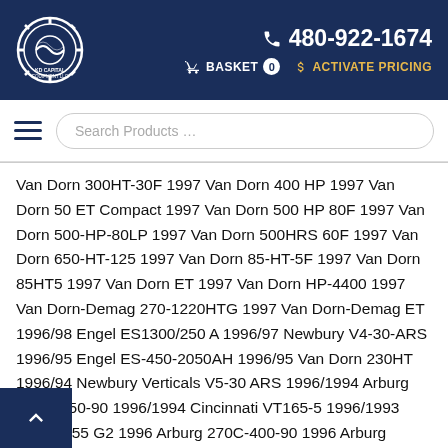KD Capital Equipment LLC | 480-922-1674 | BASKET 0 | ACTIVATE PRICING
Van Dorn 300HT-30F 1997 Van Dorn 400 HP 1997 Van Dorn 50 ET Compact 1997 Van Dorn 500 HP 80F 1997 Van Dorn 500-HP-80LP 1997 Van Dorn 500HRS 60F 1997 Van Dorn 650-HT-125 1997 Van Dorn 85-HT-5F 1997 Van Dorn 85HT5 1997 Van Dorn ET 1997 Van Dorn HP-4400 1997 Van Dorn-Demag 270-1220HTG 1997 Van Dorn-Demag ET 1996/98 Engel ES1300/250 A 1996/97 Newbury V4-30-ARS 1996/95 Engel ES-450-2050AH 1996/95 Van Dorn 230HT 1996/94 Newbury Verticals V5-30 ARS 1996/1994 Arburg 220M-350-90 1996/1994 Cincinnati VT165-5 1996/1993 Toyo TI-55 G2 1996 Arburg 270C-400-90 1996 Arburg 320M-500-90H 1996 Arburg 750-210 1996 Arburg 520M 1600 350 1996 Autojector 0-1.2 1996 Autojector HCS-150 1996 Autojector HCS-